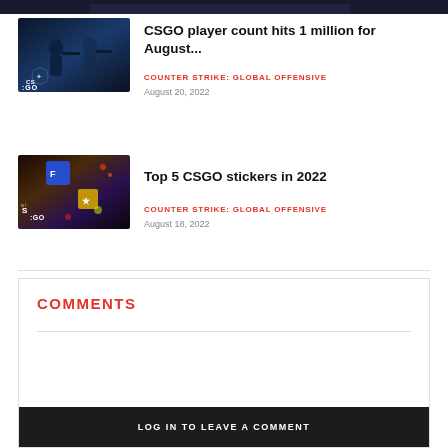[Figure (photo): Partial top strip of a CSGO-related image, cropped at top of page]
[Figure (photo): CSGO game thumbnail showing soldiers in dark blue setting with CS:GO logo]
CSGO player count hits 1 million for August...
COUNTER STRIKE: GLOBAL OFFENSIVE
August 20, 2022
[Figure (photo): CSGO stickers thumbnail showing colorful stickers including blue and yellow on dark background with CSGO logo]
Top 5 CSGO stickers in 2022
COUNTER STRIKE: GLOBAL OFFENSIVE
August 18, 2022
COMMENTS
LOG IN TO LEAVE A COMMENT